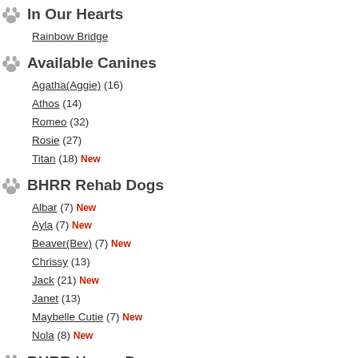In Our Hearts
Rainbow Bridge
Available Canines
Agatha(Aggie) (16)
Athos (14)
Romeo (32)
Rosie (27)
Titan (18) New
BHRR Rehab Dogs
Albar (7) New
Ayla (7) New
Beaver(Bev) (7) New
Chrissy (13)
Jack (21) New
Janet (13)
Maybelle Cutie (7) New
Nola (8) New
BHRR Haven Dogs
'Fred' (11)
Aramis (18)
Bell (68)
Brutus (12)